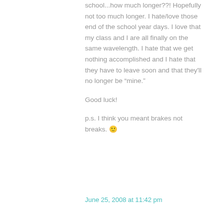school...how much longer??! Hopefully not too much longer. I hate/love those end of the school year days. I love that my class and I are all finally on the same wavelength. I hate that we get nothing accomplished and I hate that they have to leave soon and that they'll no longer be "mine."
Good luck!
p.s. I think you meant brakes not breaks. 🙂
June 25, 2008 at 11:42 pm